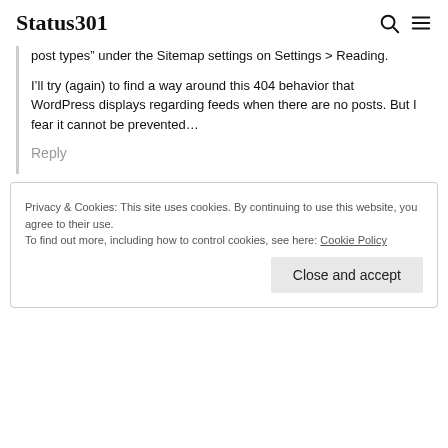Status301
post types” under the Sitemap settings on Settings > Reading.

I’ll try (again) to find a way around this 404 behavior that WordPress displays regarding feeds when there are no posts. But I fear it cannot be prevented…
Reply
Privacy & Cookies: This site uses cookies. By continuing to use this website, you agree to their use.
To find out more, including how to control cookies, see here: Cookie Policy
Close and accept